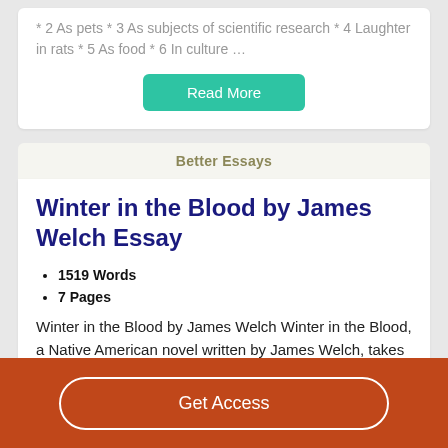* 2 As pets * 3 As subjects of scientific research * 4 Laughter in rats * 5 As food * 6 In culture …
Read More
Better Essays
Winter in the Blood by James Welch Essay
1519 Words
7 Pages
Winter in the Blood by James Welch Winter in the Blood, a Native American novel written by James Welch, takes place
Get Access